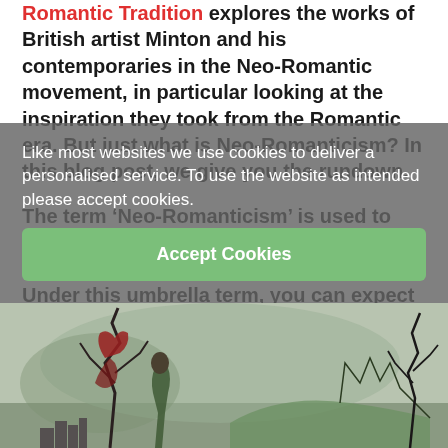Romantic Tradition explores the works of British artist Minton and his contemporaries in the Neo-Romantic movement, in particular looking at the inspiration they took from the Romantic era. But just what is Neo-Romanticism? In this blog post, we give you the rundown.
The term ‘Neo-Romanticism’ is used to describe a school of painting that emerged in 1930s and 1940s Britain. Under this umbrella term, you can expect to see paintings inspired by British landscapes, often interpreted and portrayed in a surreal or abstract style.
Like most websites we use cookies to deliver a personalised service. To use the website as intended please accept cookies.
[Figure (illustration): Portion of a Neo-Romantic painting showing surreal figures with dark, elongated forms against a muted green-grey background.]